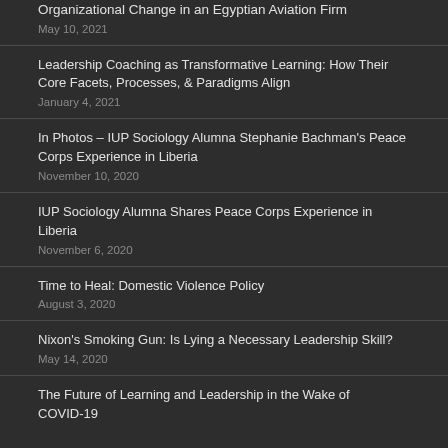Organizational Change in an Egyptian Aviation Firm
May 10, 2021
Leadership Coaching as Transformative Learning: How Their Core Facets, Processes, & Paradigms Align
January 4, 2021
In Photos – IUP Sociology Alumna Stephanie Bachman's Peace Corps Experience in Liberia
November 10, 2020
IUP Sociology Alumna Shares Peace Corps Experience in Liberia
November 6, 2020
Time to Heal: Domestic Violence Policy
August 3, 2020
Nixon's Smoking Gun: Is Lying a Necessary Leadership Skill?
May 14, 2020
The Future of Learning and Leadership in the Wake of COVID-19